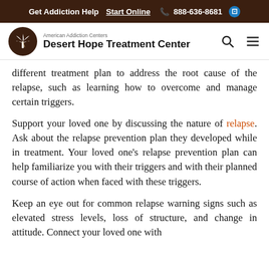Get Addiction Help  Start Online  888-636-8681
[Figure (logo): American Addiction Centers Desert Hope Treatment Center logo with palm tree icon in brown circle]
different treatment plan to address the root cause of the relapse, such as learning how to overcome and manage certain triggers.
Support your loved one by discussing the nature of relapse. Ask about the relapse prevention plan they developed while in treatment. Your loved one’s relapse prevention plan can help familiarize you with their triggers and with their planned course of action when faced with these triggers.
Keep an eye out for common relapse warning signs such as elevated stress levels, loss of structure, and change in attitude. Connect your loved one with